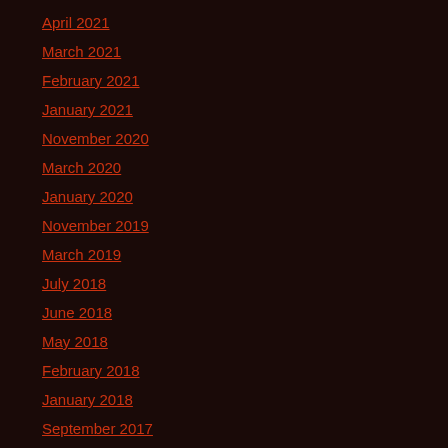April 2021
March 2021
February 2021
January 2021
November 2020
March 2020
January 2020
November 2019
March 2019
July 2018
June 2018
May 2018
February 2018
January 2018
September 2017